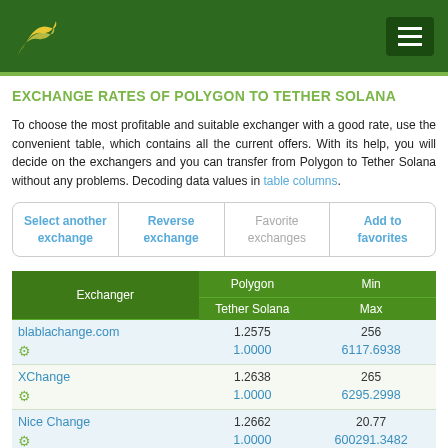Exchange Rates of Polygon to Tether Solana — logo and navigation
EXCHANGE RATES OF POLYGON TO TETHER SOLANA
To choose the most profitable and suitable exchanger with a good rate, use the convenient table, which contains all the current offers. With its help, you will decide on the exchangers and you can transfer from Polygon to Tether Solana without any problems. Decoding data values in table columns.
| Select another exchange | Reverse exchange | Favorite exchanges | Add to favorites |
| --- | --- | --- | --- |
|  |
| Exchanger | Polygon / Tether Solana | Min / Max |
| --- | --- | --- |
| blablachange.com | 1.2575 | 256 |
| ⚙ | 1.0000 | 6117.6938 |
| XChange | 1.2638 | 265 |
| ⚙ | 1.0000 | 6295.2998 |
| Nice Change | 1.2662 | 20.77 |
| ⚙ | 1.0000 | 600291.3482 |
| YChanger | 1.2762 | 87.52 |
| ⚙ | 1.0000 | 22859185.8564 |